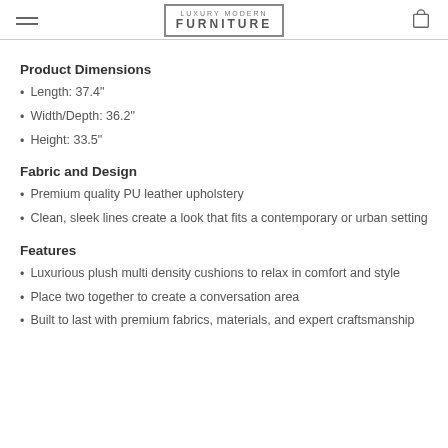LUXURY MODERN FURNITURE
Product Dimensions
Length: 37.4"
Width/Depth: 36.2"
Height: 33.5"
Fabric and Design
Premium quality PU leather upholstery
Clean, sleek lines create a look that fits a contemporary or urban setting
Features
Luxurious plush multi density cushions to relax in comfort and style
Place two together to create a conversation area
Built to last with premium fabrics, materials, and expert craftsmanship